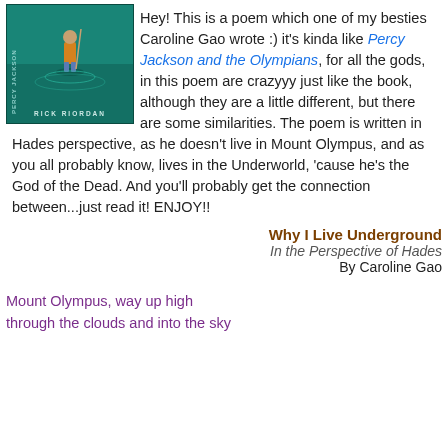[Figure (photo): Book cover of Percy Jackson and the Olympians by Rick Riordan, showing a boy standing on water with a teal/green background]
Hey! This is a poem which one of my besties Caroline Gao wrote :) it's kinda like Percy Jackson and the Olympians, for all the gods, in this poem are crazyyy just like the book, although they are a little different, but there are some similarities. The poem is written in Hades perspective, as he doesn't live in Mount Olympus, and as you all probably know, lives in the Underworld, 'cause he's the God of the Dead. And you'll probably get the connection between...just read it! ENJOY!!
Why I Live Underground
In the Perspective of Hades
By Caroline Gao
Mount Olympus, way up high
through the clouds and into the sky